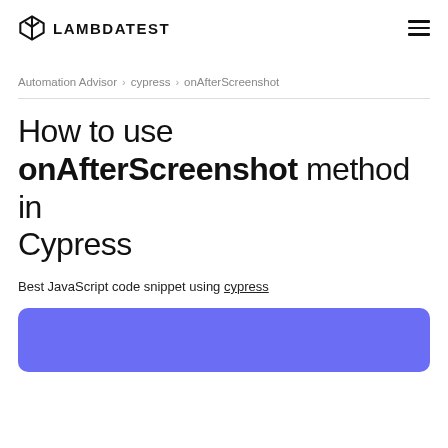LAMBDATEST
Automation Advisor > cypress > onAfterScreenshot
How to use onAfterScreenshot method in Cypress
Best JavaScript code snippet using cypress
[Figure (other): Blue/purple rounded rectangle banner area at bottom of page]